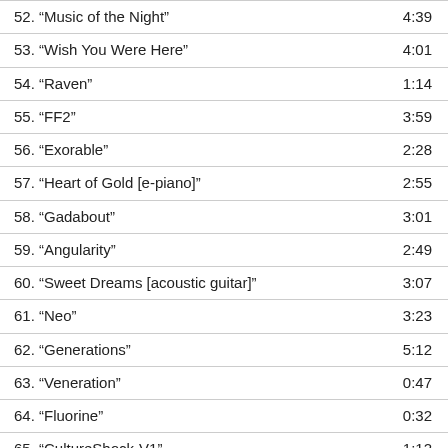| Track | Duration |
| --- | --- |
| 52. “Music of the Night” | 4:39 |
| 53. “Wish You Were Here” | 4:01 |
| 54. “Raven” | 1:14 |
| 55. “FF2” | 3:59 |
| 56. “Exorable” | 2:28 |
| 57. “Heart of Gold [e-piano]” | 2:55 |
| 58. “Gadabout” | 3:01 |
| 59. “Angularity” | 2:49 |
| 60. “Sweet Dreams [acoustic guitar]” | 3:07 |
| 61. “Neo” | 3:23 |
| 62. “Generations” | 5:12 |
| 63. “Veneration” | 0:47 |
| 64. “Fluorine” | 0:32 |
| 65. “CultureShock-V1” | 1:12 |
| 66. “Curio” | 1:20 |
| 67. “MA Today” | 1:20 |
| 68. “Funky1” | 0:58 |
| 69. “Cerebrum” | 1:23 |
| 70. “Circumflex” | 1:04 |
| 71. “Moirai” | 1:36 |